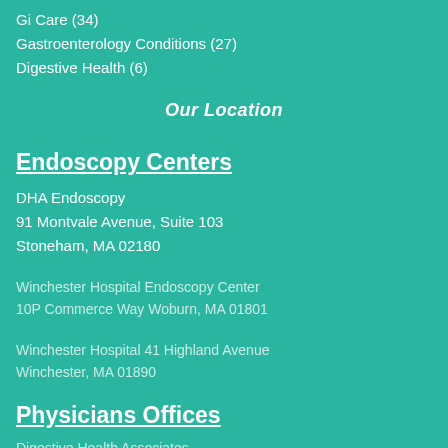Gi Care (34)
Gastroenterology Conditions (27)
Digestive Health (6)
Our Location
Endoscopy Centers
DHA Endoscopy
91 Montvale Avenue, Suite 103
Stoneham, MA 02180
Winchester Hospital Endoscopy Center
10P Commerce Way Woburn, MA 01801
Winchester Hospital 41 Highland Avenue
Winchester, MA 01890
Physicians Offices
Digestive Health Associates